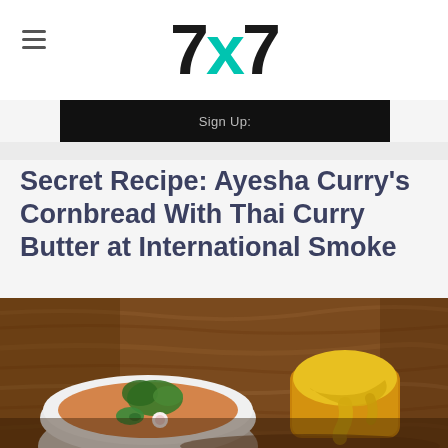7x7
Sign Up:
Secret Recipe: Ayesha Curry's Cornbread With Thai Curry Butter at International Smoke
[Figure (photo): Food photography showing a bowl of Thai curry soup garnished with cilantro and jalapeño slices, alongside a piece of cornbread topped with melted yellow curry butter, all served on a dark wooden board against a wood-grain table background.]